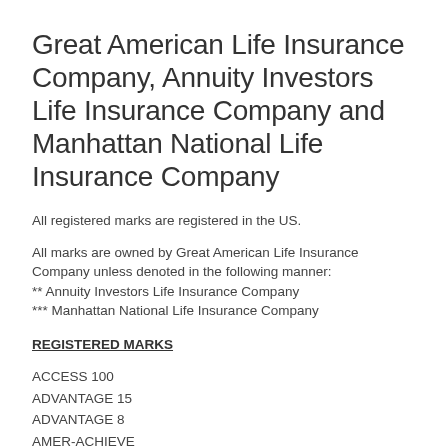Great American Life Insurance Company, Annuity Investors Life Insurance Company and Manhattan National Life Insurance Company
All registered marks are registered in the US.
All marks are owned by Great American Life Insurance Company unless denoted in the following manner:
** Annuity Investors Life Insurance Company
*** Manhattan National Life Insurance Company
REGISTERED MARKS
ACCESS 100
ADVANTAGE 15
ADVANTAGE 8
AMER-ACHIEVE